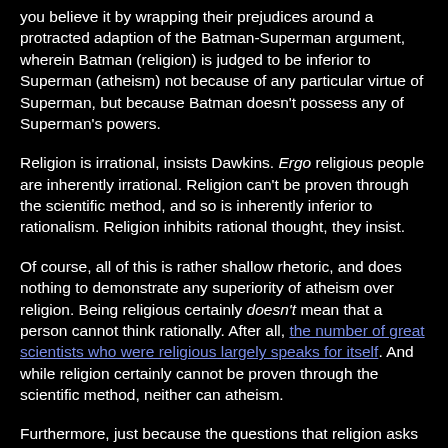you believe it by wrapping their prejudices around a protracted adaption of the Batman-Superman argument, wherein Batman (religion) is judged to be inferior to Superman (atheism) not because of any particular virtue of Superman, but because Batman doesn't possess any of Superman's powers.
Religion is irrational, insists Dawkins. Ergo religious people are inherently irrational. Religion can't be proven through the scientific method, and so is inherently inferior to rationalism. Religion inhibits rational thought, they insist.
Of course, all of this is rather shallow rhetoric, and does nothing to demonstrate any superiority of atheism over religion. Being religious certainly doesn't mean that a person cannot think rationally. After all, the number of great scientists who were religious largely speaks for itself. And while religion certainly cannot be proven through the scientific method, neither can atheism.
Furthermore, just because the questions that religion asks may not be entirely rational, they deal with issues central to